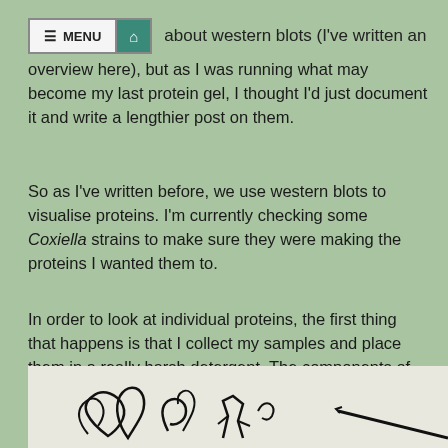MENU [home icon] about western blots (I've written an overview here), but as I was running what may become my last protein gel, I thought I'd just document it and write a lengthier post on them.
So as I've written before, we use western blots to visualise proteins. I'm currently checking some Coxiella strains to make sure they were making the proteins I wanted them to.
In order to look at individual proteins, the first thing that happens is that I collect my samples and place them in a really harsh detergent. The components of this detergent mix kill and break open cells, then turn proteins, which initially look like squiggly blobs...
[Figure (illustration): Hand-drawn squiggly blob illustrations representing proteins, with some curly shapes on the left and a diagonal line on the right, drawn in black on a light background.]